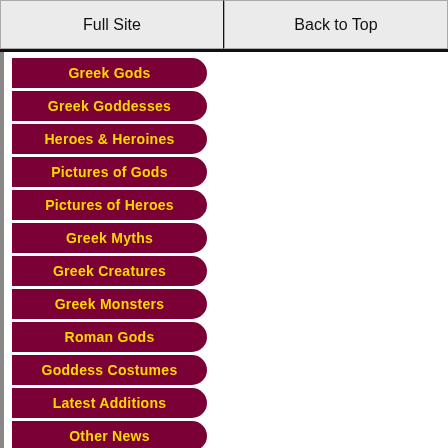Full Site | Back to Top
Greek Gods
Greek Goddesses
Heroes & Heroines
Pictures of Gods
Pictures of Heroes
Greek Myths
Greek Creatures
Greek Monsters
Roman Gods
Goddess Costumes
Latest Additions
Other News
Comment Here!
You Said...
Italiano
Français